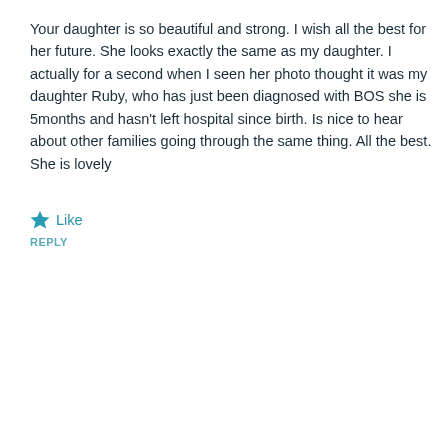Your daughter is so beautiful and strong. I wish all the best for her future. She looks exactly the same as my daughter. I actually for a second when I seen her photo thought it was my daughter Ruby, who has just been diagnosed with BOS she is 5months and hasn't left hospital since birth. Is nice to hear about other families going through the same thing. All the best. She is lovely
★ Like
REPLY